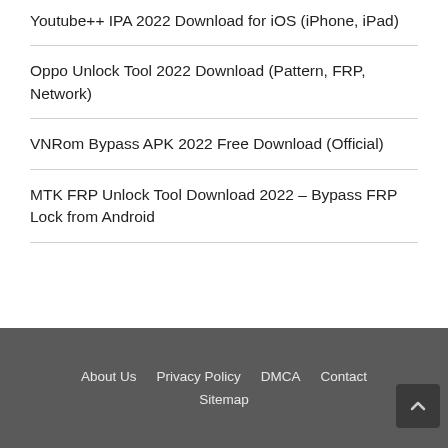Youtube++ IPA 2022 Download for iOS (iPhone, iPad)
Oppo Unlock Tool 2022 Download (Pattern, FRP, Network)
VNRom Bypass APK 2022 Free Download (Official)
MTK FRP Unlock Tool Download 2022 – Bypass FRP Lock from Android
About Us   Privacy Policy   DMCA   Contact   Sitemap